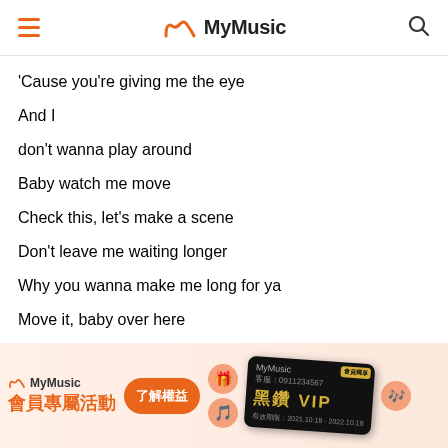MyMusic
'Cause you're giving me the eye
And I
don't wanna play around
Baby watch me move
Check this, let's make a scene
Don't leave me waiting longer
Why you wanna make me long for ya
Move it, baby over here
So we can set it off

We can get down to the DJ's sound
Feel soo good, baby all around
Feelin' kinda naughty
Come and get me now
(Oh oh yeah)

I'll be anticipating
(Anticipating)
[Figure (screenshot): MyMusic app promotional banner for member exclusive events and Black Diamond VIP card]